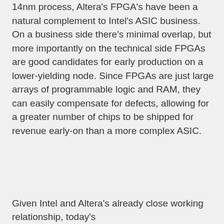14nm process, Altera's FPGA's have been a natural complement to Intel's ASIC business. On a business side there's minimal overlap, but more importantly on the technical side FPGAs are good candidates for early production on a lower-yielding node. Since FPGAs are just large arrays of programmable logic and RAM, they can easily compensate for defects, allowing for a greater number of chips to be shipped for revenue early-on than a more complex ASIC.
Given Intel and Altera's already close working relationship, today's